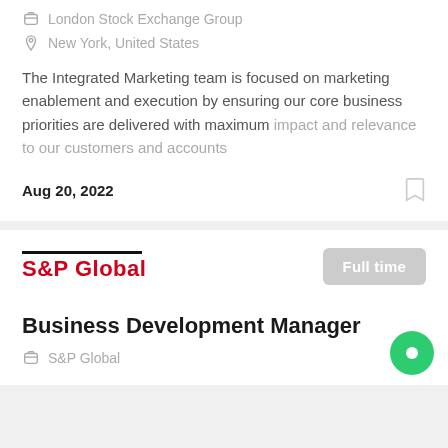London Stock Exchange Group
New York, United States
The Integrated Marketing team is focused on marketing enablement and execution by ensuring our core business priorities are delivered with maximum impact and relevance to our customers and accounts
Aug 20, 2022
[Figure (logo): S&P Global logo with red bold text and black horizontal bar above]
Full time
Business Development Manager
S&P Global